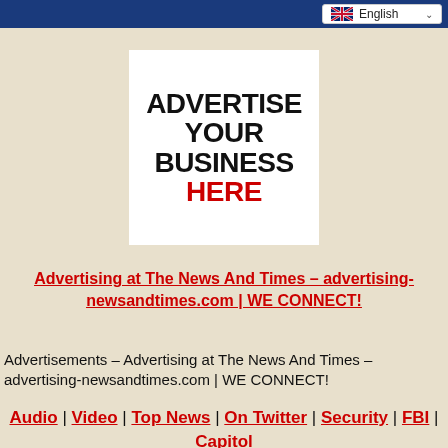English
[Figure (infographic): Advertisement placeholder box with bold black text 'ADVERTISE YOUR BUSINESS' and bold red text 'HERE' on white background]
Advertising at The News And Times – advertising-newsandtimes.com | WE CONNECT!
Advertisements – Advertising at The News And Times – advertising-newsandtimes.com | WE CONNECT!
Audio | Video | Top News | On Twitter | Security | FBI | Capitol